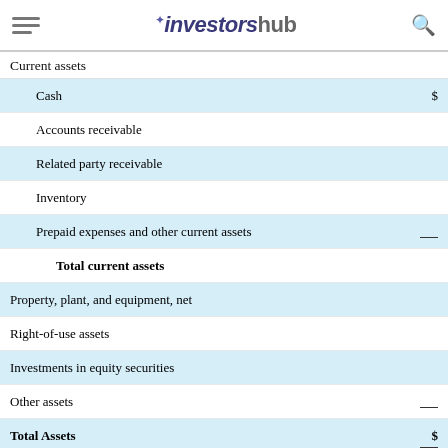investorshub
Current assets
| Item | Value |
| --- | --- |
| Cash | $ |
| Accounts receivable |  |
| Related party receivable |  |
| Inventory |  |
| Prepaid expenses and other current assets |  |
| Total current assets |  |
| Property, plant, and equipment, net |  |
| Right-of-use assets |  |
| Investments in equity securities |  |
| Other assets |  |
| Total Assets | $ |
LIABILITIES AND STOCKHOLDERS' EQUITY